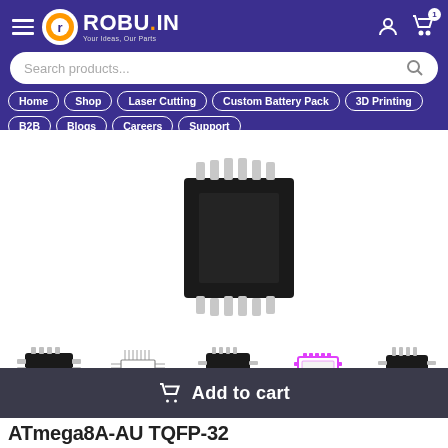ROBU.IN — Your Ideas, Our Parts
Search products...
Home
Shop
Laser Cutting
Custom Battery Pack
3D Printing
B2B
Blogs
Careers
Support
[Figure (photo): Close-up photo of an IC chip (black square SMD package with metal pins) on white background]
[Figure (photo): Thumbnail: black SMD IC chip top view]
[Figure (schematic): Thumbnail: schematic/line drawing of TQFP IC package pinout]
[Figure (photo): Thumbnail: black SMD IC chip]
[Figure (illustration): Thumbnail: pink/magenta IC package illustration with blue dot]
[Figure (photo): Thumbnail: black SMD IC chip, angled view]
Add to cart
ATmega8A-AU TQFP-32